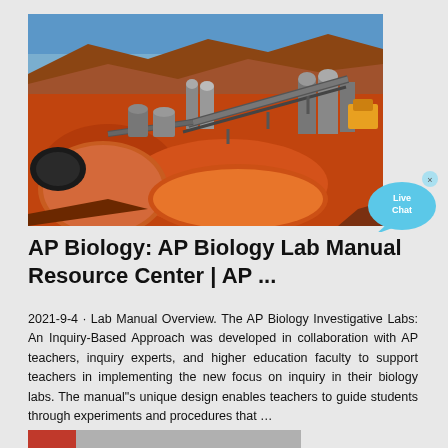[Figure (photo): Aerial view of an open-pit mine with red/orange earth, industrial processing equipment, conveyor belts, circular settling ponds, and storage tanks against a blue sky.]
[Figure (illustration): Live Chat speech bubble icon in light blue with an X close button in the top right corner.]
AP Biology: AP Biology Lab Manual Resource Center | AP ...
2021-9-4 · Lab Manual Overview. The AP Biology Investigative Labs: An Inquiry-Based Approach was developed in collaboration with AP teachers, inquiry experts, and higher education faculty to support teachers in implementing the new focus on inquiry in their biology labs. The manual"s unique design enables teachers to guide students through experiments and procedures that …